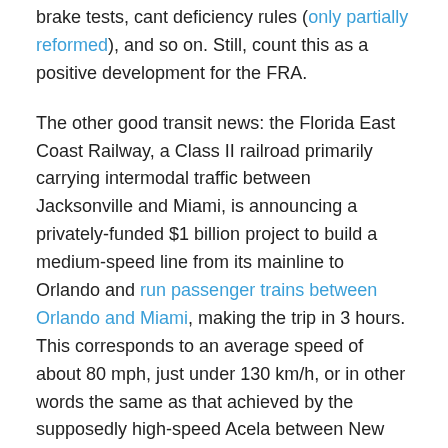brake tests, cant deficiency rules (only partially reformed), and so on. Still, count this as a positive development for the FRA.
The other good transit news: the Florida East Coast Railway, a Class II railroad primarily carrying intermodal traffic between Jacksonville and Miami, is announcing a privately-funded $1 billion project to build a medium-speed line from its mainline to Orlando and run passenger trains between Orlando and Miami, making the trip in 3 hours. This corresponds to an average speed of about 80 mph, just under 130 km/h, or in other words the same as that achieved by the supposedly high-speed Acela between New York and Washington.
Share this: